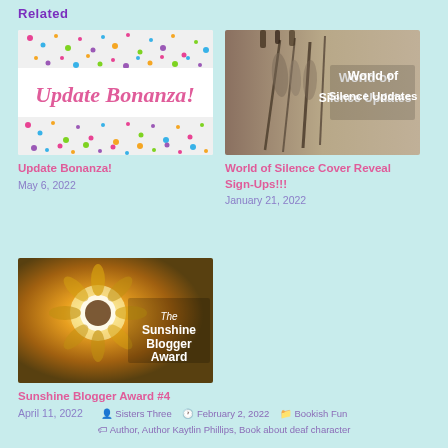Related
[Figure (photo): Update Bonanza! blog post thumbnail with colorful confetti and pink cursive text]
Update Bonanza!
May 6, 2022
[Figure (photo): World of Silence Updates - photo of feathers and arrows with white overlay text]
World of Silence Cover Reveal Sign-Ups!!!
January 21, 2022
[Figure (photo): The Sunshine Blogger Award - sunflower photo with white overlay text]
Sunshine Blogger Award #4
April 11, 2022
Sisters Three   February 2, 2022   Bookish Fun   Author, Author Kaytlin Phillips, Book about deaf character